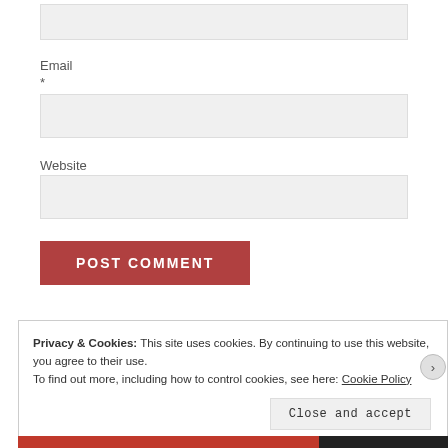[Figure (screenshot): Top truncated input field box]
Email
*
[Figure (screenshot): Email input field (empty, light gray background)]
Website
[Figure (screenshot): Website input field (empty, light gray background)]
POST COMMENT
Privacy & Cookies: This site uses cookies. By continuing to use this website, you agree to their use.
To find out more, including how to control cookies, see here: Cookie Policy
Close and accept